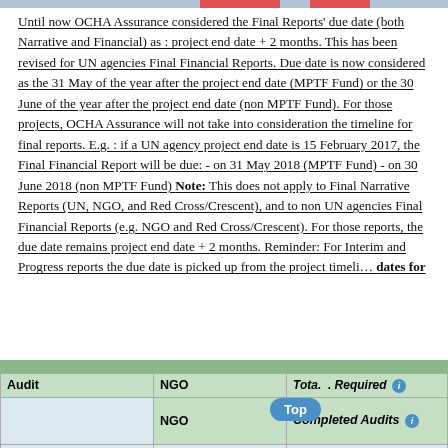Until now OCHA Assurance considered the Final Reports' due date (both Narrative and Financial) as : project end date + 2 months. This has been revised for UN agencies Final Financial Reports. Due date is now considered as the 31 May of the year after the project end date (MPTF Fund) or the 30 June of the year after the project end date (non MPTF Fund). For those projects, OCHA Assurance will not take into consideration the timeline for final reports. E.g. : if a UN agency project end date is 15 February 2017, the Final Financial Report will be due: - on 31 May 2018 (MPTF Fund) - on 30 June 2018 (non MPTF Fund) Note: This does not apply to Final Narrative Reports (UN, NGO, and Red Cross/Crescent), and to non UN agencies Final Financial Reports (e.g. NGO and Red Cross/Crescent). For those reports, the due date remains project end date + 2 months. Reminder: For Interim and Progress reports the due date is picked up from the project timeli… dates for
| Audit | NGO | Tota… . Required |  |
| --- | --- | --- | --- |
|  | NGO | Completed Audits |  |